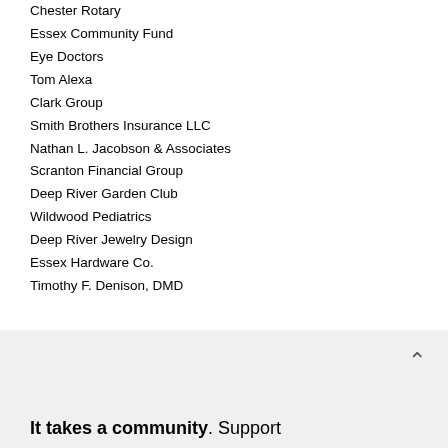Chester Rotary
Essex Community Fund
Eye Doctors
Tom Alexa
Clark Group
Smith Brothers Insurance LLC
Nathan L. Jacobson & Associates
Scranton Financial Group
Deep River Garden Club
Wildwood Pediatrics
Deep River Jewelry Design
Essex Hardware Co.
Timothy F. Denison, DMD
It takes a community. Support